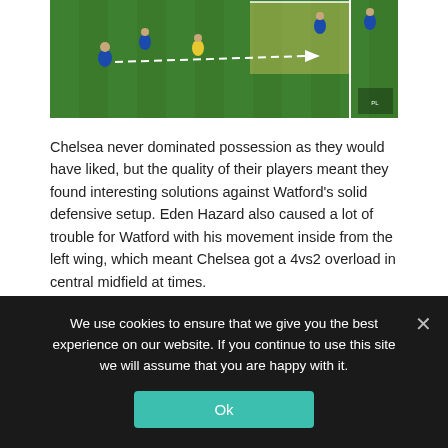[Figure (photo): A football match screenshot from above showing players on a green pitch. A white dashed arrow points across the field, indicating a pass or movement. Players in blue (Chelsea) and yellow/black (Watford) are visible. A highlighted zone is shown in the upper right of the pitch area.]
Chelsea never dominated possession as they would have liked, but the quality of their players meant they found interesting solutions against Watford's solid defensive setup. Eden Hazard also caused a lot of trouble for Watford with his movement inside from the left wing, which meant Chelsea got a 4vs2 overload in central midfield at times.
We use cookies to ensure that we give you the best experience on our website. If you continue to use this site we will assume that you are happy with it.